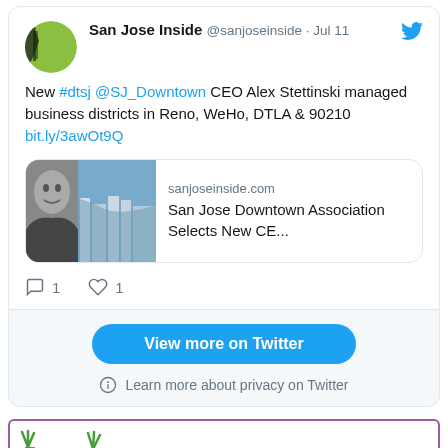[Figure (screenshot): Tweet from @sanjoseinside (San Jose Inside) posted Jul 11, with avatar logo, tweet text about new CEO Alex Stettinski, a link preview card for sanjoseinside.com article 'San Jose Downtown Association Selects New CE...', reply and like counts (1 each), a 'View more on Twitter' button, and a privacy notice.]
[Figure (other): Bottom banner advertisement with purple border, illustrated carrots/vegetables and text 'WEDNESDAYS' in large red letters with 'WE'VE MOVED' in a speech bubble.]